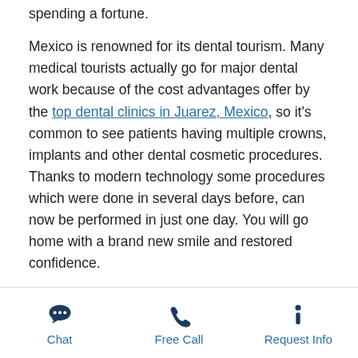spending a fortune.
Mexico is renowned for its dental tourism. Many medical tourists actually go for major dental work because of the cost advantages offer by the top dental clinics in Juarez, Mexico, so it's common to see patients having multiple crowns, implants and other dental cosmetic procedures. Thanks to modern technology some procedures which were done in several days before, can now be performed in just one day. You will go home with a brand new smile and restored confidence.
To make sure that you choose the best dental clinic in Juarez, Mexico, you will have to know exactly what to look for. Here are several questions that will help you make the best choice:
1. Can you provide a detailed profile of the dentist's
Chat | Free Call | Request Info